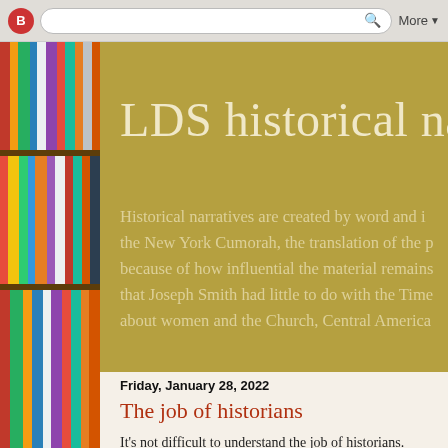[Figure (screenshot): Browser navigation bar with Blogger icon, search/address bar, and More button]
[Figure (photo): Bookshelf with colorful books forming the left sidebar of the blog]
LDS historical narr
Historical narratives are created by word and i... the New York Cumorah, the translation of the p... because of how influential the material remains... that Joseph Smith had little to do with the Time... about women and the Church, Central America...
Friday, January 28, 2022
The job of historians
It's not difficult to understand the job of historians.